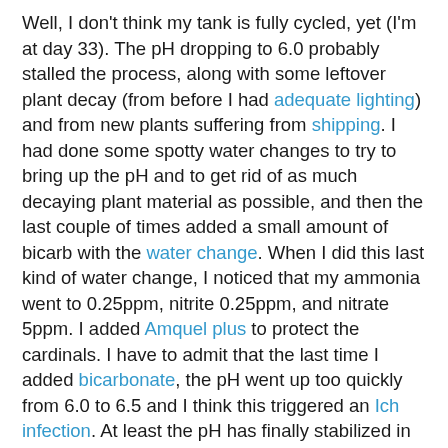Well, I don't think my tank is fully cycled, yet (I'm at day 33). The pH dropping to 6.0 probably stalled the process, along with some leftover plant decay (from before I had adequate lighting) and from new plants suffering from shipping. I had done some spotty water changes to try to bring up the pH and to get rid of as much decaying plant material as possible, and then the last couple of times added a small amount of bicarb with the water change. When I did this last kind of water change, I noticed that my ammonia went to 0.25ppm, nitrite 0.25ppm, and nitrate 5ppm. I added Amquel plus to protect the cardinals. I have to admit that the last time I added bicarbonate, the pH went up too quickly from 6.0 to 6.5 and I think this triggered an Ich infection. At least the pH has finally stabilized in the past couple of days.
I started Seachem Paraguard yesterday (I had seen one spot on one cardinal the day before yesterday. Today I saw a different cardinal with a single spot, but none on the others). All cardinals are acting lively and healthy, feeding eagerly on Spirulina flakes and picking on the occasional detritus worm (not as many in the tank as before, now). I also added